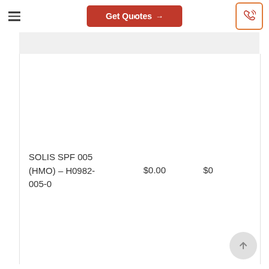Get Quotes →
SOLIS SPF 005 (HMO) – H0982-005-0   $0.00   $0